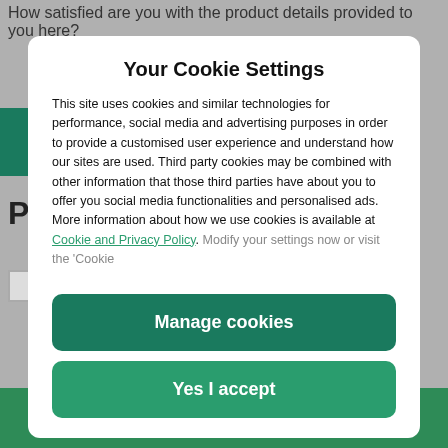How satisfied are you with the product details provided to you here?
Your Cookie Settings
This site uses cookies and similar technologies for performance, social media and advertising purposes in order to provide a customised user experience and understand how our sites are used. Third party cookies may be combined with other information that those third parties have about you to offer you social media functionalities and personalised ads. More information about how we use cookies is available at Cookie and Privacy Policy. Modify your settings now or visit the ‘Cookie
Manage cookies
Yes I accept